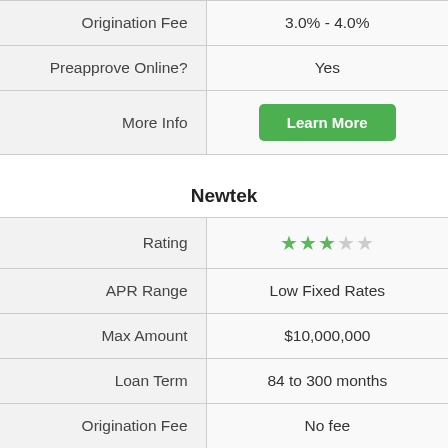|  |  |
| --- | --- |
| Origination Fee | 3.0% - 4.0% |
| Preapprove Online? | Yes |
| More Info | Learn More |
Newtek
|  |  |
| --- | --- |
| Rating | ★★★☆☆ |
| APR Range | Low Fixed Rates |
| Max Amount | $10,000,000 |
| Loan Term | 84 to 300 months |
| Origination Fee | No fee |
| Preapprove Online? | Yes |